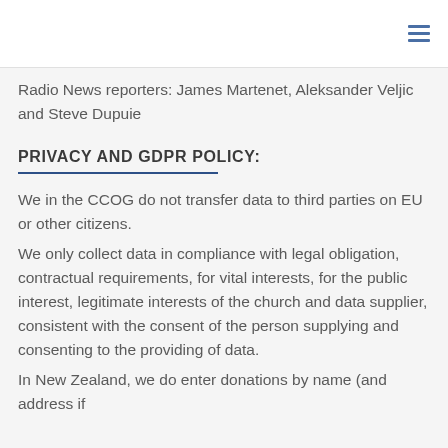≡
Radio News reporters: James Martenet, Aleksander Veljic and Steve Dupuie
PRIVACY AND GDPR POLICY:
We in the CCOG do not transfer data to third parties on EU or other citizens.
We only collect data in compliance with legal obligation, contractual requirements, for vital interests, for the public interest, legitimate interests of the church and data supplier, consistent with the consent of the person supplying and consenting to the providing of data.
In New Zealand, we do enter donations by name (and address if